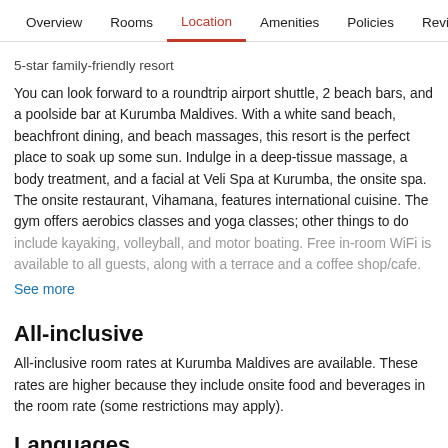Overview  Rooms  Location  Amenities  Policies  Reviews
5-star family-friendly resort
You can look forward to a roundtrip airport shuttle, 2 beach bars, and a poolside bar at Kurumba Maldives. With a white sand beach, beachfront dining, and beach massages, this resort is the perfect place to soak up some sun. Indulge in a deep-tissue massage, a body treatment, and a facial at Veli Spa at Kurumba, the onsite spa. The onsite restaurant, Vihamana, features international cuisine. The gym offers aerobics classes and yoga classes; other things to do include kayaking, volleyball, and motor boating. Free in-room WiFi is available to all guests, along with a terrace and a coffee shop/cafe.
See more
All-inclusive
All-inclusive room rates at Kurumba Maldives are available. These rates are higher because they include onsite food and beverages in the room rate (some restrictions may apply).
Languages
Arabic, Chinese (Mandarin), English, Filipino, French, German